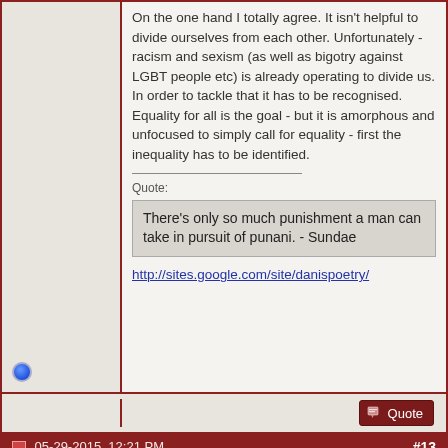On the one hand I totally agree. It isn't helpful to divide ourselves from each other. Unfortunately - racism and sexism (as well as bigotry against LGBT people etc) is already operating to divide us. In order to tackle that it has to be recognised. Equality for all is the goal - but it is amorphous and unfocused to simply call for equality - first the inequality has to be identified.
Quote:
There's only so much punishment a man can take in pursuit of punani. - Sundae
http://sites.google.com/site/danispoetry/
05-29-2015, 12:21 PM
#13
DanaC
We have to go back, Kate!
Join Date: Apr 2004
Location: Yorkshire
Posts: 25,964
A quick word about 'patriarchy':

That staple of feminist theory is often misunderstood and mischaracterised. But - as a way of understanding power structures it has some value. It is important, though, to take on board the